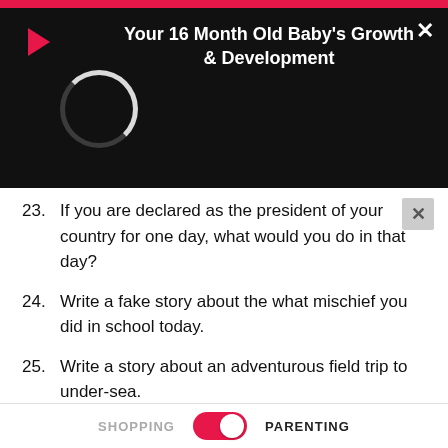[Figure (screenshot): Black ad overlay banner with pink top bar, play button icon, spinner circle, white X close button, and white bold text reading 'Your 16 Month Old Baby's Growth & Development']
23. If you are declared as the president of your country for one day, what would you do in that day?
24. Write a fake story about the what mischief you did in school today.
25. Write a story about an adventurous field trip to under-sea.
Stimulating Writing Prompts
Apart from story writing, writing a journal or essay is also a good exercise for improving creative writing of kids. Some
SHOPPING   PARENTING